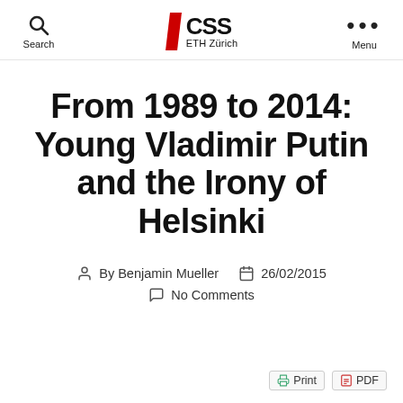Search | CSS ETH Zürich | Menu
From 1989 to 2014: Young Vladimir Putin and the Irony of Helsinki
By Benjamin Mueller   26/02/2015   No Comments